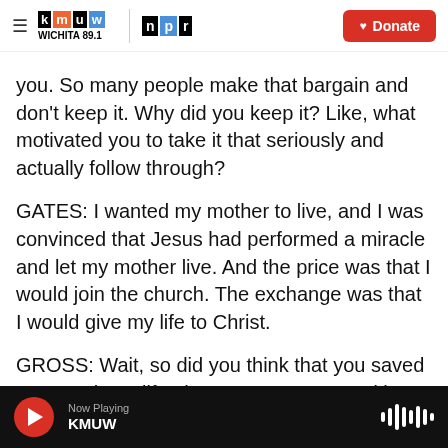KMUW Wichita 89.1 | NPR | Donate
you. So many people make that bargain and don't keep it. Why did you keep it? Like, what motivated you to take it that seriously and actually follow through?
GATES: I wanted my mother to live, and I was convinced that Jesus had performed a miracle and let my mother live. And the price was that I would join the church. The exchange was that I would give my life to Christ.
GROSS: Wait, so did you think that you saved your mother's life, that your prayer saved her life?
Now Playing KMUW